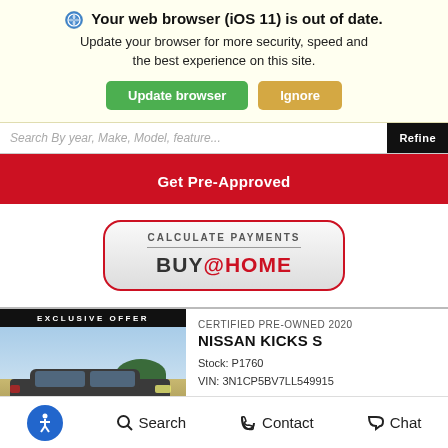Your web browser (iOS 11) is out of date. Update your browser for more security, speed and the best experience on this site.
Update browser | Ignore
Search By year, Make, Model, feature... | Refine
Get Pre-Approved
[Figure (other): CALCULATE PAYMENTS BUY@HOME button with rounded border]
EXCLUSIVE OFFER
CERTIFIED PRE-OWNED 2020
NISSAN KICKS S
Stock: P1760
VIN: 3N1CP5BV7LL549915
[Figure (photo): Photo of Nissan Kicks SUV outdoors near water]
SHOW ME THE CARFAX
Accessibility icon | Search | Contact | Chat